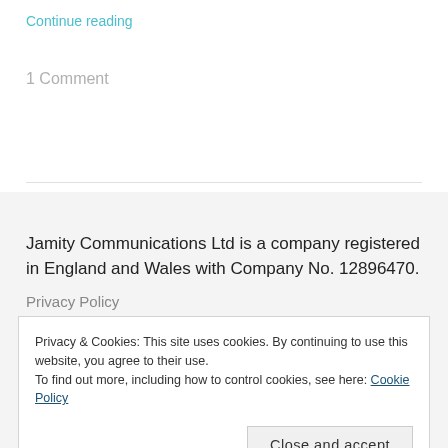Continue reading
1 Comment
Jamity Communications Ltd is a company registered in England and Wales with Company No. 12896470.
Privacy Policy
Privacy & Cookies: This site uses cookies. By continuing to use this website, you agree to their use.
To find out more, including how to control cookies, see here: Cookie Policy
Close and accept